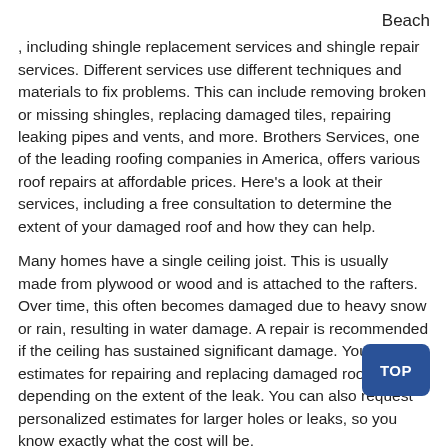Beach
, including shingle replacement services and shingle repair services. Different services use different techniques and materials to fix problems. This can include removing broken or missing shingles, replacing damaged tiles, repairing leaking pipes and vents, and more. Brothers Services, one of the leading roofing companies in America, offers various roof repairs at affordable prices. Here’s a look at their services, including a free consultation to determine the extent of your damaged roof and how they can help.
Many homes have a single ceiling joist. This is usually made from plywood or wood and is attached to the rafters. Over time, this often becomes damaged due to heavy snow or rain, resulting in water damage. A repair is recommended if the ceiling has sustained significant damage. You can get estimates for repairing and replacing damaged roofs depending on the extent of the leak. You can also request personalized estimates for larger holes or leaks, so you know exactly what the cost will be.